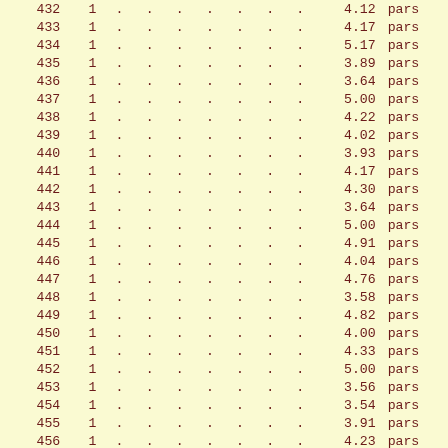| id | n | . | . | . | . | . | . | . | val | unit |
| --- | --- | --- | --- | --- | --- | --- | --- | --- | --- | --- |
| 432 | 1 | . | . | . | . | . | . | . | 4.12 | pars |
| 433 | 1 | . | . | . | . | . | . | . | 4.17 | pars |
| 434 | 1 | . | . | . | . | . | . | . | 5.17 | pars |
| 435 | 1 | . | . | . | . | . | . | . | 3.89 | pars |
| 436 | 1 | . | . | . | . | . | . | . | 3.64 | pars |
| 437 | 1 | . | . | . | . | . | . | . | 5.00 | pars |
| 438 | 1 | . | . | . | . | . | . | . | 4.22 | pars |
| 439 | 1 | . | . | . | . | . | . | . | 4.02 | pars |
| 440 | 1 | . | . | . | . | . | . | . | 3.93 | pars |
| 441 | 1 | . | . | . | . | . | . | . | 4.17 | pars |
| 442 | 1 | . | . | . | . | . | . | . | 4.30 | pars |
| 443 | 1 | . | . | . | . | . | . | . | 3.64 | pars |
| 444 | 1 | . | . | . | . | . | . | . | 5.00 | pars |
| 445 | 1 | . | . | . | . | . | . | . | 4.91 | pars |
| 446 | 1 | . | . | . | . | . | . | . | 4.04 | pars |
| 447 | 1 | . | . | . | . | . | . | . | 4.76 | pars |
| 448 | 1 | . | . | . | . | . | . | . | 3.58 | pars |
| 449 | 1 | . | . | . | . | . | . | . | 4.82 | pars |
| 450 | 1 | . | . | . | . | . | . | . | 4.00 | pars |
| 451 | 1 | . | . | . | . | . | . | . | 4.33 | pars |
| 452 | 1 | . | . | . | . | . | . | . | 5.00 | pars |
| 453 | 1 | . | . | . | . | . | . | . | 3.56 | pars |
| 454 | 1 | . | . | . | . | . | . | . | 3.54 | pars |
| 455 | 1 | . | . | . | . | . | . | . | 3.91 | pars |
| 456 | 1 | . | . | . | . | . | . | . | 4.23 | pars |
| 457 | 1 | . | . | . | . | . | . | . | 4.20 | pars |
| 458 | 1 | . | . | . | . | . | . | . | 4.53 | pars |
| 459 | 1 | . | . | . | . | . | . | . | 5.00 | pars |
| 460 | 1 | . | . | . | . | . | . | . | 3.64 | pars |
| 461 | 1 | . | . | . | . | . | . | . | 4.61 | pars |